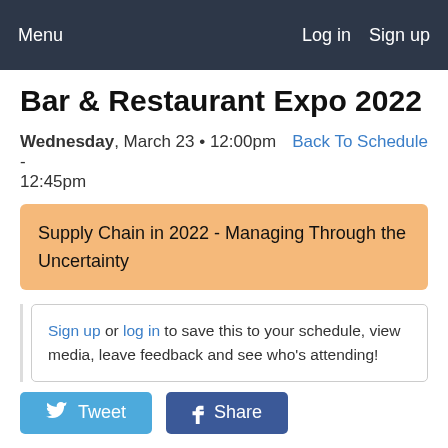Menu   Log in   Sign up
Bar & Restaurant Expo 2022
Wednesday, March 23 • 12:00pm - 12:45pm   Back To Schedule
Supply Chain in 2022 - Managing Through the Uncertainty
Sign up or log in to save this to your schedule, view media, leave feedback and see who's attending!
Tweet   Share